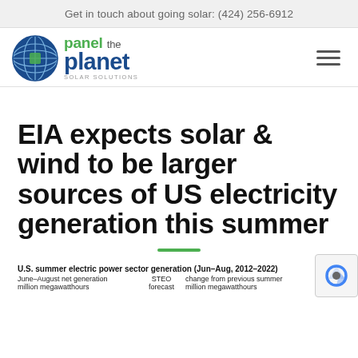Get in touch about going solar: (424) 256-6912
[Figure (logo): Panel the Planet Solar Solutions logo with globe icon]
EIA expects solar & wind to be larger sources of US electricity generation this summer
U.S. summer electric power sector generation (Jun–Aug, 2012–2022)
June–August net generation million megawatthours
STEO forecast
change from previous summer million megawatthours
STEO forecast